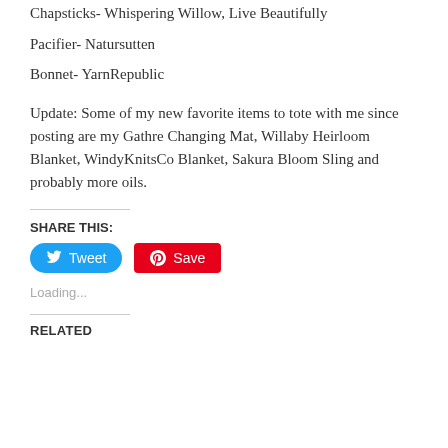Chapsticks- Whispering Willow, Live Beautifully
Pacifier- Natursutten
Bonnet- YarnRepublic
Update: Some of my new favorite items to tote with me since posting are my Gathre Changing Mat, Willaby Heirloom Blanket, WindyKnitsCo Blanket, Sakura Bloom Sling and probably more oils.
SHARE THIS:
Tweet
Save
Loading...
RELATED